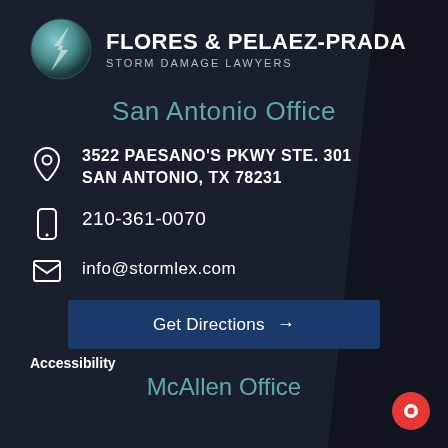[Figure (logo): Circular logo with lightning bolt design in teal/silver tones for Flores & Pelaez-Prada Storm Damage Lawyers]
FLORES & PELAEZ-PRADA
STORM DAMAGE LAWYERS
San Antonio Office
3522 PAESANO'S PKWY STE. 301
SAN ANTONIO, TX 78231
210-361-0070
info@stormlex.com
Get Directions →
Accessibility
McAllen Office